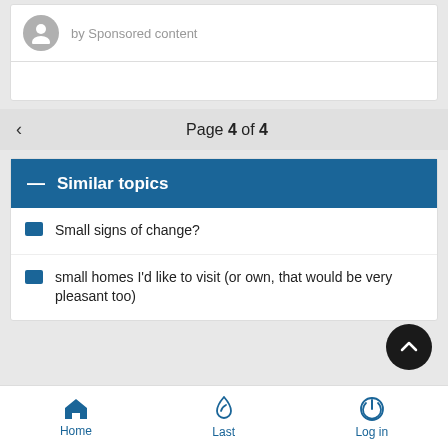by Sponsored content
Page 4 of 4
— Similar topics
Small signs of change?
small homes I'd like to visit (or own, that would be very pleasant too)
Home  Last  Log in